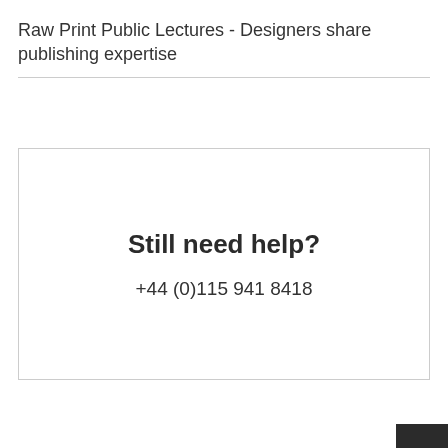Raw Print Public Lectures - Designers share publishing expertise
Still need help?
+44 (0)115 941 8418